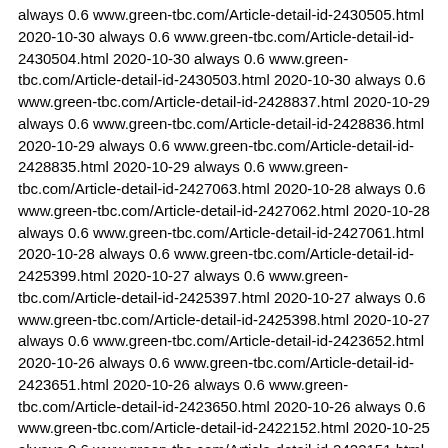always 0.6 www.green-tbc.com/Article-detail-id-2430505.html 2020-10-30 always 0.6 www.green-tbc.com/Article-detail-id-2430504.html 2020-10-30 always 0.6 www.green-tbc.com/Article-detail-id-2430503.html 2020-10-30 always 0.6 www.green-tbc.com/Article-detail-id-2428837.html 2020-10-29 always 0.6 www.green-tbc.com/Article-detail-id-2428836.html 2020-10-29 always 0.6 www.green-tbc.com/Article-detail-id-2428835.html 2020-10-29 always 0.6 www.green-tbc.com/Article-detail-id-2427063.html 2020-10-28 always 0.6 www.green-tbc.com/Article-detail-id-2427062.html 2020-10-28 always 0.6 www.green-tbc.com/Article-detail-id-2427061.html 2020-10-28 always 0.6 www.green-tbc.com/Article-detail-id-2425399.html 2020-10-27 always 0.6 www.green-tbc.com/Article-detail-id-2425397.html 2020-10-27 always 0.6 www.green-tbc.com/Article-detail-id-2425398.html 2020-10-27 always 0.6 www.green-tbc.com/Article-detail-id-2423652.html 2020-10-26 always 0.6 www.green-tbc.com/Article-detail-id-2423651.html 2020-10-26 always 0.6 www.green-tbc.com/Article-detail-id-2423650.html 2020-10-26 always 0.6 www.green-tbc.com/Article-detail-id-2422152.html 2020-10-25 always 0.6 www.green-tbc.com/Article-detail-id-2422151.html 2020-10-25 always 0.6 www.green-tbc.com/Article-detail-id-2422150.html 2020-10-25 always 0.6 www.green-tbc.com/Article-detail-id-2420535.html 2020-10-24 always 0.6 www.green-tbc.com/Article-detail-id-2420534.html 2020-10-24 always 0.6 www.green-tbc.com/Article-detail-id-2420533.html